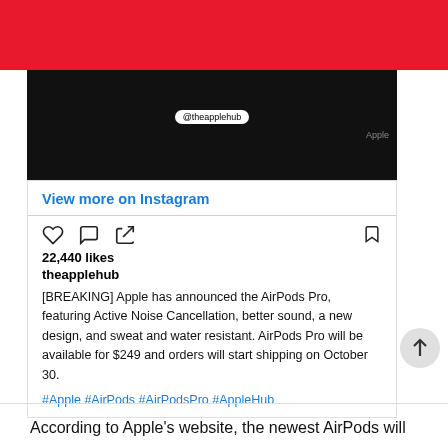[Figure (screenshot): Instagram post screenshot showing a dark image with @theapplehub watermark and Apple label]
View more on Instagram
22,440 likes
theapplehub
[BREAKING] Apple has announced the AirPods Pro, featuring Active Noise Cancellation, better sound, a new design, and sweat and water resistant. AirPods Pro will be available for $249 and orders will start shipping on October 30.
#Apple #AirPods #AirPodsPro #AppleHub
According to Apple's website, the newest AirPods will